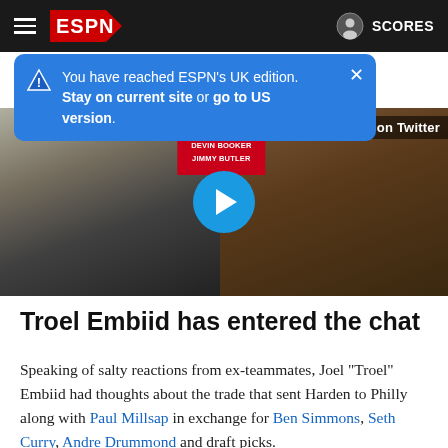ESPN — SCORES
You have reached ESPN's UK edition. Stay on current site or go to US version.
[Figure (screenshot): ESPN video thumbnail showing a hand holding a clipboard and a man in a brown beanie hat with a reserved team card overlay and a blue play button in the center. Top right shows 'ch on Twitter' label.]
Troel Embiid has entered the chat
Speaking of salty reactions from ex-teammates, Joel "Troel" Embiid had thoughts about the trade that sent Harden to Philly along with Paul Millsap in exchange for Ben Simmons, Seth Curry, Andre Drummond and draft picks.
The king of cryptic tweets enlisted the help of a Twitter meme to make his formerly diplomatic feelings perfectly clear about Simmons and his, erm, contributions.